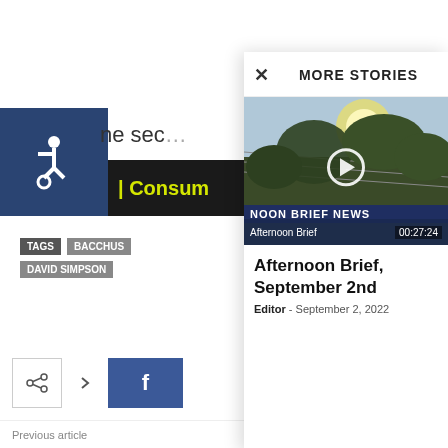[Figure (screenshot): Accessibility wheelchair icon in dark blue square]
ne sec
Consum
TAGS   BACCHUS   DAVID SIMPSON
[Figure (screenshot): Share button and Facebook button]
MORE STORIES
[Figure (screenshot): Video thumbnail of vineyard with play button. NOON BRIEF NEWS banner. Afternoon Brief label. Duration: 00:27:24]
Afternoon Brief, September 2nd
Editor - September 2, 2022
Previous article
Auction Napa Valley 2016 Tickets Now on Sale
Afternoon Brief, Febr